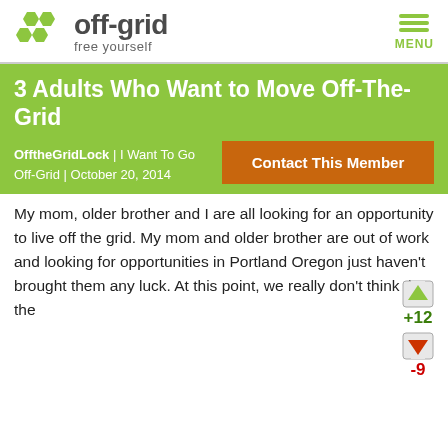[Figure (logo): off-grid website logo with green hexagons and text 'off-grid free yourself']
3 Adults Who Want to Move Off-The-Grid
OfftheGridLock | I Want To Go Off-Grid | October 20, 2014
Contact This Member
[Figure (other): Vote up icon with +12 and vote down icon with -9]
My mom, older brother and I are all looking for an opportunity to live off the grid. My mom and older brother are out of work and looking for opportunities in Portland Oregon just haven't brought them any luck. At this point, we really don't think that the